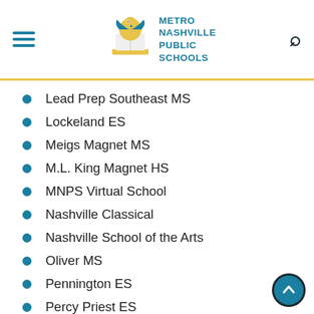Metro Nashville Public Schools
Lead Prep Southeast MS
Lockeland ES
Meigs Magnet MS
M.L. King Magnet HS
MNPS Virtual School
Nashville Classical
Nashville School of the Arts
Oliver MS
Pennington ES
Percy Priest ES
Rose Park Magnet MS
Shayne ES